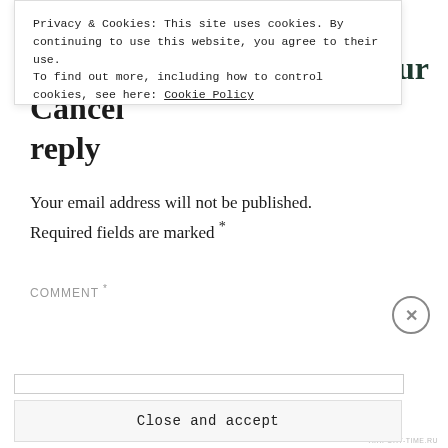Leave a Reply to Kamal Kaur Cancel reply
Your email address will not be published.
Required fields are marked *
COMMENT *
Privacy & Cookies: This site uses cookies. By continuing to use this website, you agree to their use.
To find out more, including how to control cookies, see here: Cookie Policy
Close and accept